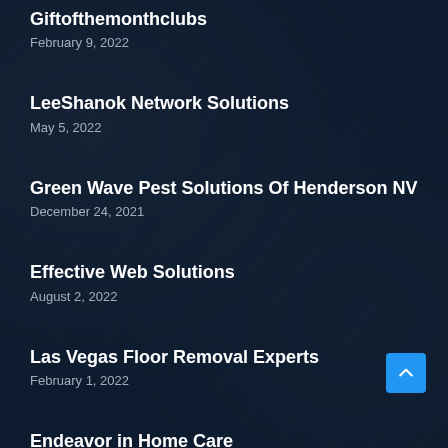Giftofthemonthclubs
February 9, 2022
LeeShanok Network Solutions
May 5, 2022
Green Wave Pest Solutions Of Henderson NV
December 24, 2021
Effective Web Solutions
August 2, 2022
Las Vegas Floor Removal Experts
February 1, 2022
Endeavor in Home Care